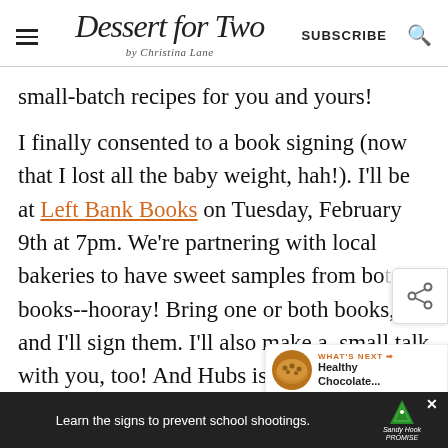Dessert for Two by Christina Lane | SUBSCRIBE
small-batch recipes for you and yours!
I finally consented to a book signing (now that I lost all the baby weight, hah!). I'll be at Left Bank Books on Tuesday, February 9th at 7pm. We're partnering with local bakeries to have sweet samples from both books--hooray! Bring one or both books, and I'll sign them. I'll also make a small talk with you, too! And Hubs is b... come
[Figure (screenshot): Share widget icon on right side]
[Figure (screenshot): What's Next widget showing Healthy Chocolate... with cookie thumbnail]
[Figure (screenshot): Ad bar at bottom: Learn the signs to prevent school shootings. Sandy Hook Promise logo]